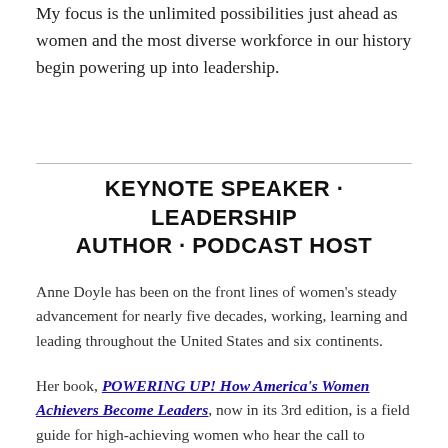My focus is the unlimited possibilities just ahead as women and the most diverse workforce in our history begin powering up into leadership.
KEYNOTE SPEAKER · LEADERSHIP AUTHOR · PODCAST HOST
Anne Doyle has been on the front lines of women's steady advancement for nearly five decades, working, learning and leading throughout the United States and six continents.
Her book, POWERING UP! How America's Women Achievers Become Leaders, now in its 3rd edition, is a field guide for high-achieving women who hear the call to leadership.